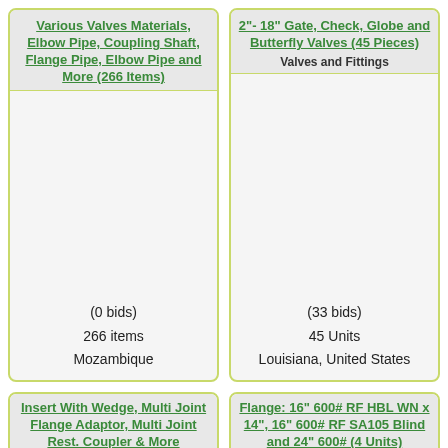Various Valves Materials, Elbow Pipe, Coupling Shaft, Flange Pipe, Elbow Pipe and More (266 Items)
(0 bids)
266 items
Mozambique
2"- 18" Gate, Check, Globe and Butterfly Valves (45 Pieces)
Valves and Fittings
(33 bids)
45 Units
Louisiana, United States
Insert With Wedge, Multi Joint Flange Adaptor, Multi Joint Rest. Coupler & More
Valves and Fittings
Flange: 16" 600# RF HBL WN x 14", 16" 600# RF SA105 Blind and 24" 600# (4 Units)